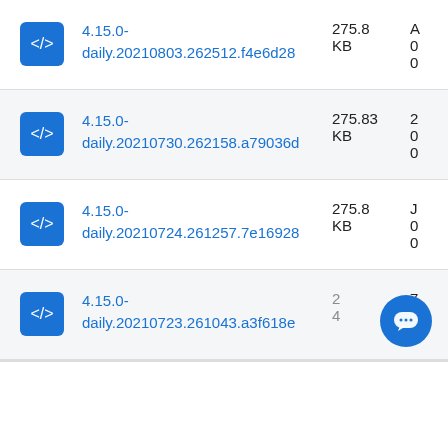4.15.0-daily.20210803.262512.f4e6d28  275.8 KB
4.15.0-daily.20210730.262158.a79036d  275.83 KB
4.15.0-daily.20210724.261257.7e16928  275.8 KB
4.15.0-daily.20210723.261043.a3f618e